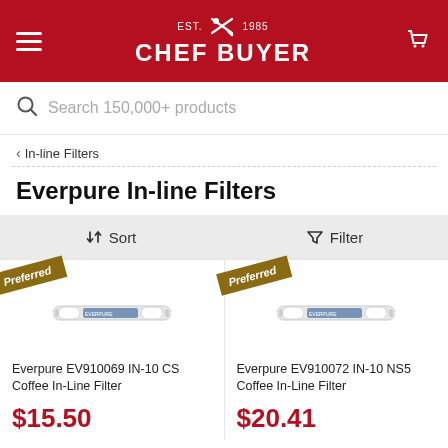EST. 1985 CHEF BUYER
Search 150,000+ products
< In-line Filters
Everpure In-line Filters
↑↓ Sort   Filter
[Figure (photo): Everpure EV910069 IN-10 CS Coffee In-Line Filter product image with Preferred ribbon]
Everpure EV910069 IN-10 CS Coffee In-Line Filter
$15.50
[Figure (photo): Everpure EV910072 IN-10 NS5 Coffee In-Line Filter product image with Preferred ribbon]
Everpure EV910072 IN-10 NS5 Coffee In-Line Filter
$20.41